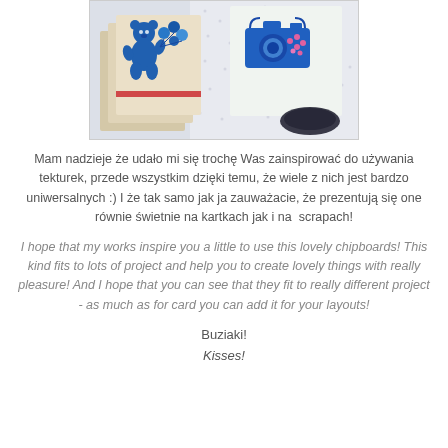[Figure (photo): Photograph of blue chipboard/cardboard decorative figures including a bear with balloons and a camera shape on a decorative background with star pattern paper]
Mam nadzieje że udało mi się trochę Was zainspirować do używania tekturek, przede wszystkim dzięki temu, że wiele z nich jest bardzo uniwersalnych :) I że tak samo jak ja zauważacie, że prezentują się one równie świetnie na kartkach jak i na  scrapach!
I hope that my works inspire you a little to use this lovely chipboards! This kind fits to lots of project and help you to create lovely things with really pleasure! And I hope that you can see that they fit to really different project - as much as for card you can add it for your layouts!
Buziaki!
Kisses!